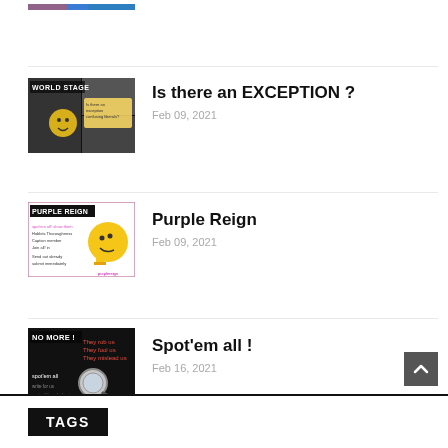[Figure (photo): Partial thumbnail strip at top, colorful background]
[Figure (photo): World Stage thumbnail: dark background with white bold text 'WORLD STAGE', celebrity collage photos]
Is there an EXCEPTION ?
Feb 09, 2021
[Figure (photo): Purple Reign thumbnail: white background with purple border, yellow emoji, text 'PURPLE REIGN']
Purple Reign
Feb 09, 2021
[Figure (photo): No More thumbnail: dark background with bold text 'NO MORE !', magnifying glass graphic, spot em all text]
Spot'em all !
Feb 16, 2021
TAGS